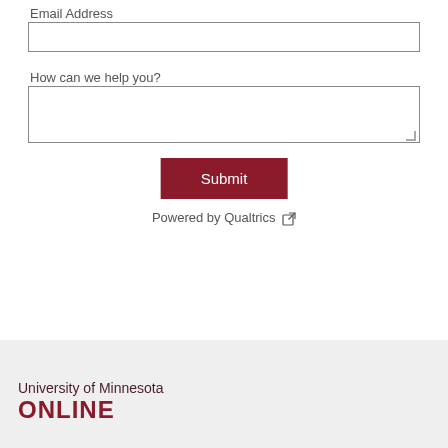Email Address
How can we help you?
Submit
Powered by Qualtrics
Back to top
University of Minnesota ONLINE